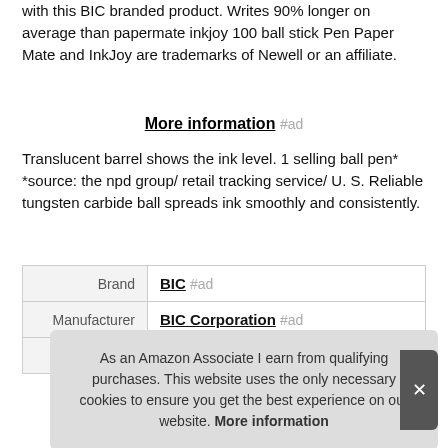with this BIC branded product. Writes 90% longer on average than papermate inkjoy 100 ball stick Pen Paper Mate and InkJoy are trademarks of Newell or an affiliate.
More information #ad
Translucent barrel shows the ink level. 1 selling ball pen* *source: the npd group/ retail tracking service/ U. S. Reliable tungsten carbide ball spreads ink smoothly and consistently.
|  |  |
| --- | --- |
| Brand | BIC #ad |
| Manufacturer | BIC Corporation #ad |
| Width | 9.63 Inches |
As an Amazon Associate I earn from qualifying purchases. This website uses the only necessary cookies to ensure you get the best experience on our website. More information